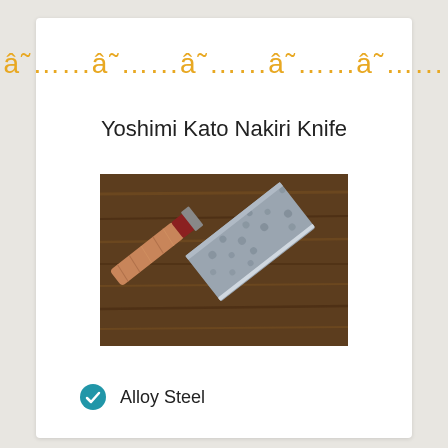â˜…...â˜…...â˜…...â˜…...â˜…...
Yoshimi Kato Nakiri Knife
[Figure (photo): A Yoshimi Kato Nakiri knife with a wooden and red accent handle resting on a dark wooden surface. The blade is wide and rectangular with a hammered Damascus steel finish.]
Alloy Steel